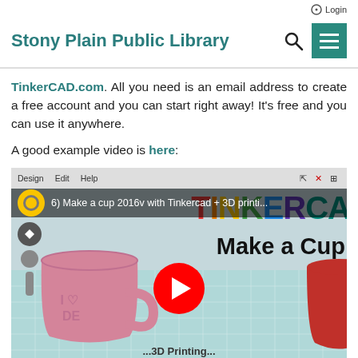Stony Plain Public Library
TinkerCAD.com. All you need is an email address to create a free account and you can start right away! It's free and you can use it anywhere.
A good example video is here:
[Figure (screenshot): YouTube video thumbnail showing '6) Make a cup 2016v with Tinkercad + 3D printing' with a pink 3D printed cup and the TINKERCAD rainbow logo, and a red YouTube play button in the center.]